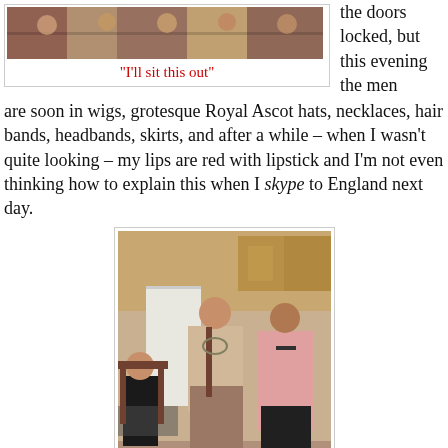[Figure (photo): Group photo of people at a party, top of page]
"I'll sit this out"
the doors locked, but this evening the men are soon in wigs, grotesque Royal Ascot hats, necklaces, hair bands, headbands, skirts, and after a while – when I wasn't quite looking – my lips are red with lipstick and I'm not even thinking how to explain this when I skype to England next day.
[Figure (photo): People dancing in a kitchen, one person dressed in a skirt and braid, another in a pink shirt, a child sitting in a chair]
Dancing of course with clicking, clapping and plates shattering on the floor. In the revels I lose my glasses and fear they'll go the way of the plates but they've just got tangled in my tresses as I throw my head about in Effie's and